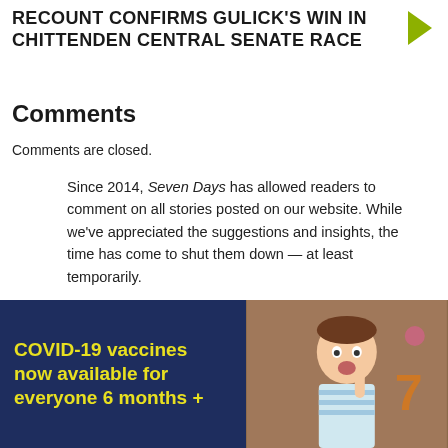RECOUNT CONFIRMS GULICK'S WIN IN CHITTENDEN CENTRAL SENATE RACE
Comments
Comments are closed.
Since 2014, Seven Days has allowed readers to comment on all stories posted on our website. While we've appreciated the suggestions and insights, the time has come to shut them down — at least temporarily.
While we champion free speech, facts are a matter of life and death during the coronavirus pandemic, and right now Seven Days is prioritizing the
[Figure (infographic): COVID-19 vaccines advertisement banner with dark navy blue background on left side showing yellow bold text 'COVID-19 vaccines now available for everyone 6 months +' and right side showing a photo of a young child looking surprised with a number 7 visible in the background.]